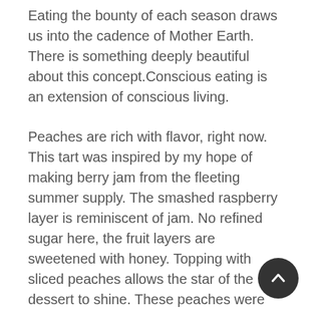Eating the bounty of each season draws us into the cadence of Mother Earth. There is something deeply beautiful about this concept.Conscious eating is an extension of conscious living.
Peaches are rich with flavor, right now. This tart was inspired by my hope of making berry jam from the fleeting summer supply. The smashed raspberry layer is reminiscent of jam. No refined sugar here, the fruit layers are sweetened with honey. Topping with sliced peaches allows the star of the dessert to shine. These peaches were bursting with flavor.
I will leave you with the encouragement to live present, playful and peaceful days. Hopefully your present or near future will include enjoying late summer harvests that bring you true bliss. If you get the chance to make this tart, be sure to drop me a line and share your results on soci[al]